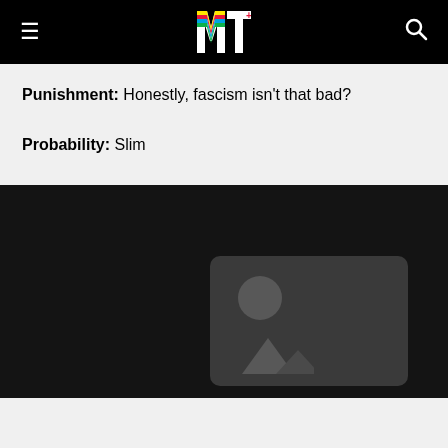MTV
Punishment: Honestly, fascism isn't that bad?
Probability: Slim
[Figure (photo): Dark black background with a placeholder image thumbnail in the lower right showing a circle and mountain/landscape icon on a dark grey rounded rectangle background — image not loaded]